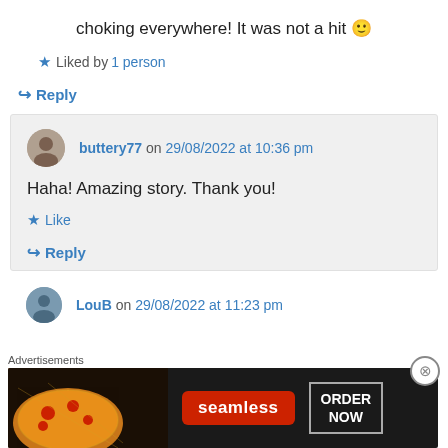choking everywhere! It was not a hit 🙂
★ Liked by 1 person
↪ Reply
buttery77 on 29/08/2022 at 10:36 pm
Haha! Amazing story. Thank you!
★ Like
↪ Reply
LouB on 29/08/2022 at 11:23 pm
[Figure (photo): Seamless food ordering advertisement banner with pizza image, Seamless logo and ORDER NOW button]